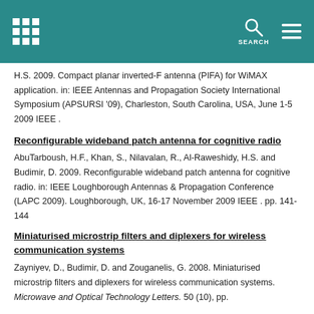SEARCH
H.S. 2009. Compact planar inverted-F antenna (PIFA) for WiMAX application. in: IEEE Antennas and Propagation Society International Symposium (APSURSI '09), Charleston, South Carolina, USA, June 1-5 2009 IEEE .
Reconfigurable wideband patch antenna for cognitive radio
AbuTarboush, H.F., Khan, S., Nilavalan, R., Al-Raweshidy, H.S. and Budimir, D. 2009. Reconfigurable wideband patch antenna for cognitive radio. in: IEEE Loughborough Antennas & Propagation Conference (LAPC 2009). Loughborough, UK, 16-17 November 2009 IEEE . pp. 141-144
Miniaturised microstrip filters and diplexers for wireless communication systems
Zayniyev, D., Budimir, D. and Zouganelis, G. 2008. Miniaturised microstrip filters and diplexers for wireless communication systems. Microwave and Optical Technology Letters. 50 (10), pp.